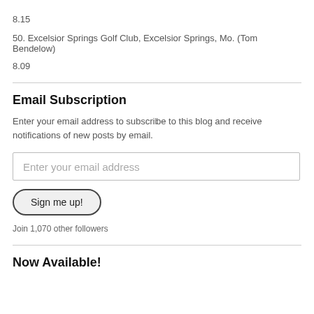8.15
50. Excelsior Springs Golf Club, Excelsior Springs, Mo. (Tom Bendelow)
8.09
Email Subscription
Enter your email address to subscribe to this blog and receive notifications of new posts by email.
Enter your email address
Sign me up!
Join 1,070 other followers
Now Available!